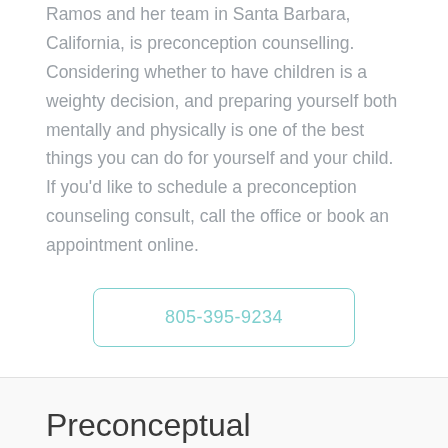Ramos and her team in Santa Barbara, California, is preconception counselling. Considering whether to have children is a weighty decision, and preparing yourself both mentally and physically is one of the best things you can do for yourself and your child. If you'd like to schedule a preconception counseling consult, call the office or book an appointment online.
805-395-9234
Preconceptual Counseling Q & A
What is preconception counseling?